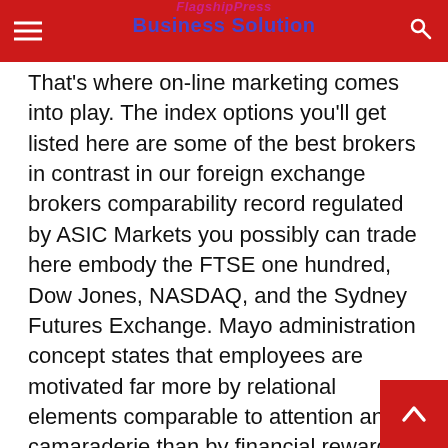FlagshipPress Business Solution
That’s where on-line marketing comes into play. The index options you’ll get listed here are some of the best brokers in contrast in our foreign exchange brokers comparability record regulated by ASIC Markets you possibly can trade here embody the FTSE one hundred, Dow Jones, NASDAQ, and the Sydney Futures Exchange. Mayo administration concept states that employees are motivated far more by relational elements comparable to attention and camaraderie than by financial rewards or environmental elements akin to lighting, humidity, and many others.
The whole international cryptocurrency market-capitalisation has fallen by 2.33 p.c over the previous day to $2.09 trillion, in keeping with data